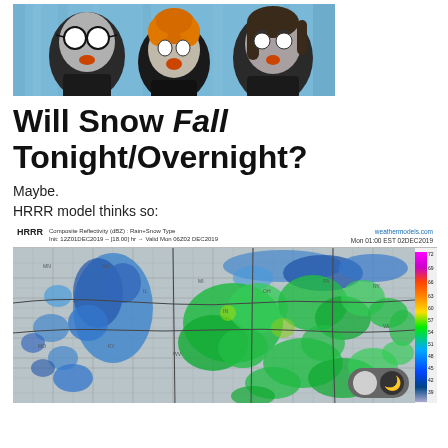[Figure (photo): Three stuffed puppet/doll figures with exaggerated shocked expressions against a blue background. Left puppet has glasses, middle has orange hair, right has dark hair.]
Will Snow Fall Tonight/Overnight?
Maybe.
HRRR model thinks so:
[Figure (map): HRRR Composite Reflectivity (dBZ) Rain+Snow Type weather map. Init: 12Z01DEC2019 -- [18.00] hr -- Valid Mon 06Z02 DEC2019. Mon 01:00 EST 02DEC2019. weathermodels.com. Shows radar reflectivity across central/eastern US with blue areas (snow) and green areas (rain). Color scale on right from ~39 to 72 dBZ.]